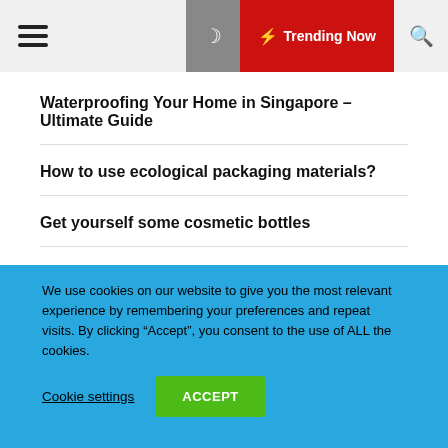☰ ☽ ⚡ Trending Now 🔍
Waterproofing Your Home in Singapore – Ultimate Guide
How to use ecological packaging materials?
Get yourself some cosmetic bottles
What is palm oil and what makes it special?
We use cookies on our website to give you the most relevant experience by remembering your preferences and repeat visits. By clicking "Accept", you consent to the use of ALL the cookies.